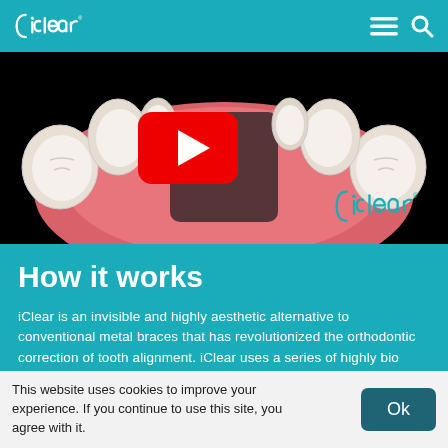iClear®
[Figure (screenshot): Video thumbnail showing a dental model (teeth and gums viewed from below) on a black background with a YouTube play button in the center and iClear logo watermark at bottom right.]
How it works
iClear is an invisible and highly aesthetic alternative to conventional metal braces that has revolutionized the orthodontic correction of tooth alignment. iClear uses a series of highly bio compatible transparent removable
This website uses cookies to improve your experience. If you continue to use this site, you agree with it.